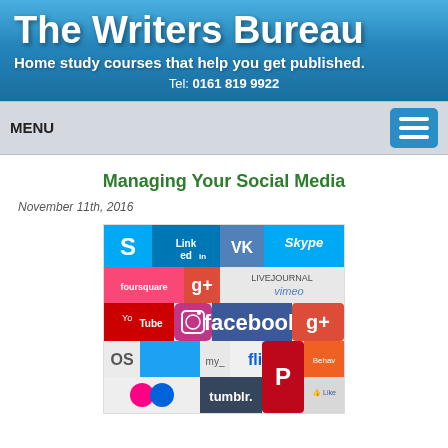The Writers Bureau
Home study courses that help you get published.
Tel: 0161 819 9922
MENU
Managing Your Social Media
November 11th, 2016
[Figure (photo): Collage of social media logos including LinkedIn, Skype, VK, LiveJournal, Foursquare, Google+, Vimeo, YouTube, Instagram, Facebook, Twitter, Pinterest, Flickr, Tumblr, Yelp and others]